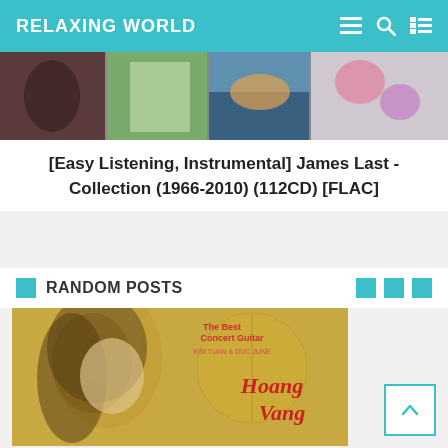RELAXING WORLD
[Figure (photo): Horizontal strip of album cover thumbnails partially visible at top of page]
[Easy Listening, Instrumental] James Last - Collection (1966-2010) (112CD) [FLAC]
RANDOM POSTS
[Figure (photo): Album cover for 'Hoang Vang' - The Best Concert Guitar by Kim Tuan & Duc June, showing a young woman with long hair and the album title in stylized text]